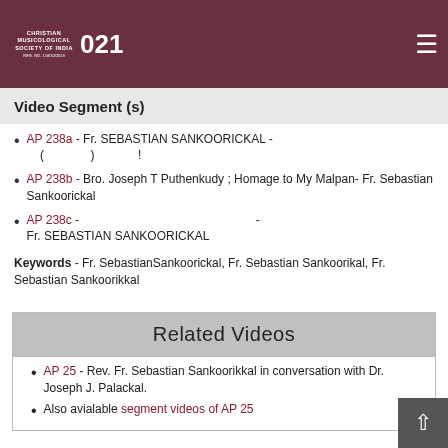Christian Musicological Society of India 2021
Video Segment (s)
AP 238a - Fr. SEBASTIAN SANKOORICKAL - ( ) !
AP 238b - Bro. Joseph T Puthenkudy ; Homage to My Malpan- Fr. Sebastian Sankoorickal
AP 238c - - Fr. SEBASTIAN SANKOORICKAL
Keywords - Fr. SebastianSankoorickal, Fr. Sebastian Sankoorikal, Fr. Sebastian Sankoorikkal
Related Videos
AP 25 - Rev. Fr. Sebastian Sankoorikkal in conversation with Dr. Joseph J. Palackal.
Also avialable segment videos of AP 25